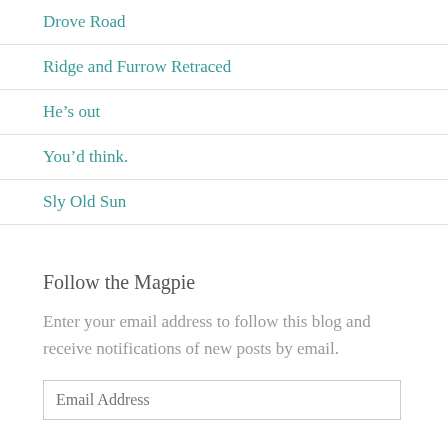Drove Road
Ridge and Furrow Retraced
He’s out
You’d think.
Sly Old Sun
Follow the Magpie
Enter your email address to follow this blog and receive notifications of new posts by email.
Email Address